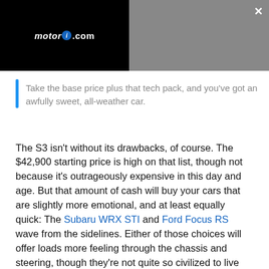[Figure (screenshot): Motor1.com website banner/ad overlay. Left half is black with Motor1.com logo in white italic text with blue circle containing 'i'. Right half is gray. White X close button in top right corner.]
Take the base price plus that tech pack, and you've got an awfully sweet, all-weather car.
The S3 isn't without its drawbacks, of course. The $42,900 starting price is high on that list, though not because it's outrageously expensive in this day and age. But that amount of cash will buy your cars that are slightly more emotional, and at least equally quick: The Subaru WRX STI and Ford Focus RS wave from the sidelines. Either of those choices will offer loads more feeling through the chassis and steering, though they're not quite so civilized to live with, day in and day out.